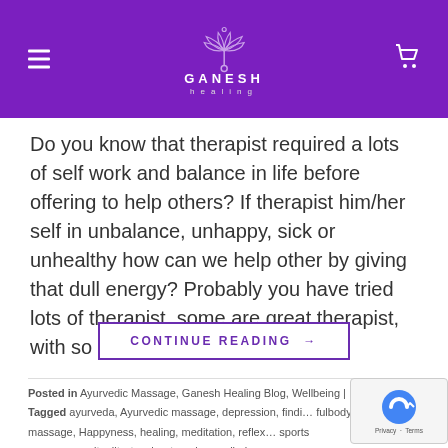Ganesh Healing — navigation header with logo
Do you know that therapist required a lots of self work and balance in life before offering to help others? If therapist him/her self in unbalance, unhappy, sick or unhealthy how can we help other by giving that dull energy? Probably you have tried lots of therapist, some are great therapist, with so much of...
CONTINUE READING →
Posted in Ayurvedic Massage, Ganesh Healing Blog, Wellbeing | Tagged ayurveda, Ayurvedic massage, depression, findi… fulbody massage, Happyness, healing, meditation, reflex… sports massage, sprituality, teacher tranning, welbeing